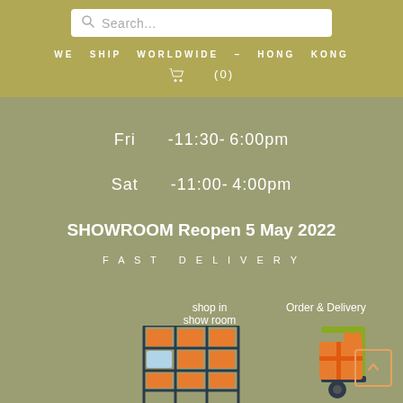Search...
WE SHIP WORLDWIDE – HONG KONG
(0)
Fri   -11:30-6:00pm
Sat   -11:00-4:00pm
SHOWROOM Reopen 5 May 2022
FAST DELIVERY
shop in show room
[Figure (illustration): Warehouse shelf with orange boxes icon]
Order & Delivery
[Figure (illustration): Hand truck/dolly with orange package delivery icon]